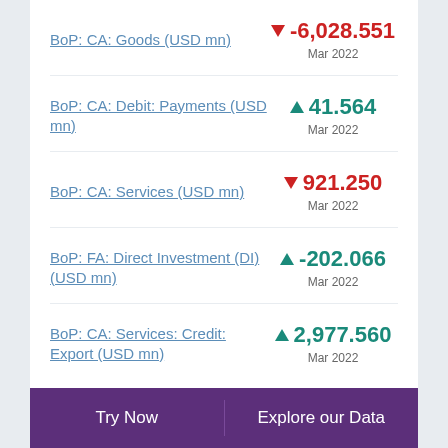BoP: CA: Goods (USD mn) ▼ -6,028.551 Mar 2022
BoP: CA: Debit: Payments (USD mn) ▲ 41.564 Mar 2022
BoP: CA: Services (USD mn) ▼ 921.250 Mar 2022
BoP: FA: Direct Investment (DI) (USD mn) ▲ -202.066 Mar 2022
BoP: CA: Services: Credit: Export (USD mn) ▲ 2,977.560 Mar 2022
Try Now | Explore our Data